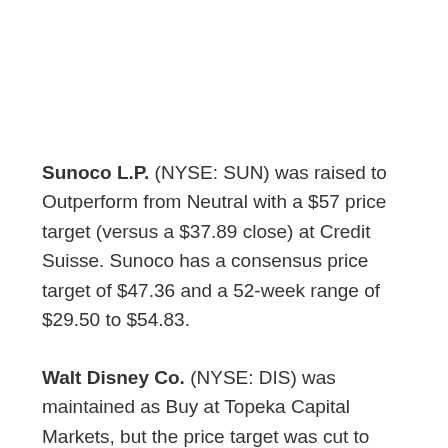Sunoco L.P. (NYSE: SUN) was raised to Outperform from Neutral with a $57 price target (versus a $37.89 close) at Credit Suisse. Sunoco has a consensus price target of $47.36 and a 52-week range of $29.50 to $54.83.
Walt Disney Co. (NYSE: DIS) was maintained as Buy at Topeka Capital Markets, but the price target was cut to $103 from $106.